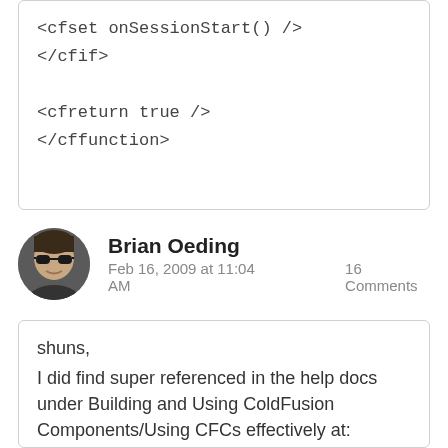<cfset onSessionStart() />
</cfif>

<cfreturn true />
</cffunction>
Brian Oeding
Feb 16, 2009 at 11:04 AM    16 Comments
shuns,
I did find super referenced in the help docs under Building and Using ColdFusion Components/Using CFCs effectively at:
http://livedocs.adobe.com/coldfusion/8/htmldocs